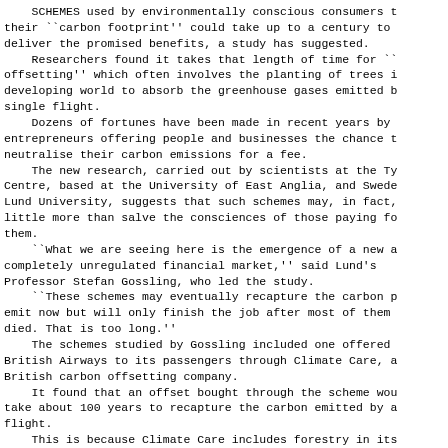SCHEMES used by environmentally conscious consumers to reduce their ``carbon footprint'' could take up to a century to deliver the promised benefits, a study has suggested.
    Researchers found it takes that length of time for ``offsetting'' which often involves the planting of trees in the developing world to absorb the greenhouse gases emitted by a single flight.
    Dozens of fortunes have been made in recent years by entrepreneurs offering people and businesses the chance to neutralise their carbon emissions for a fee.
    The new research, carried out by scientists at the Tyndall Centre, based at the University of East Anglia, and Sweden's Lund University, suggests that such schemes may, in fact, do little more than salve the consciences of those paying for them.
    ``What we are seeing here is the emergence of a new and completely unregulated financial market,'' said Lund's Professor Stefan Gossling, who led the study.
    ``These schemes may eventually recapture the carbon people emit now but will only finish the job after most of them have died. That is too long.''
    The schemes studied by Gossling included one offered by British Airways to its passengers through Climate Care, a British carbon offsetting company.
    It found that an offset bought through the scheme would take about 100 years to recapture the carbon emitted by a flight.
    This is because Climate Care includes forestry in its offsetting portfolio, meaning that carbon emitted can be recaptured only as fast as a tree can grow.